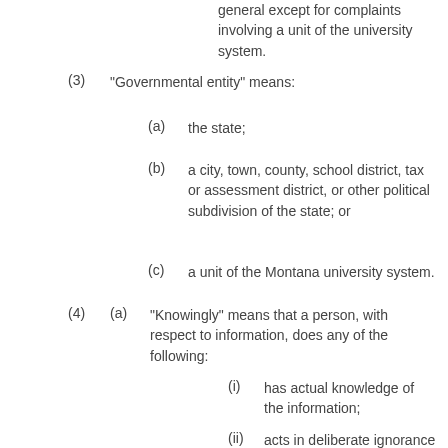general except for complaints involving a unit of the university system.
(3) "Governmental entity" means:
(a) the state;
(b) a city, town, county, school district, tax or assessment district, or other political subdivision of the state; or
(c) a unit of the Montana university system.
(4) (a) "Knowingly" means that a person, with respect to information, does any of the following:
(i) has actual knowledge of the information;
(ii) acts in deliberate ignorance of the